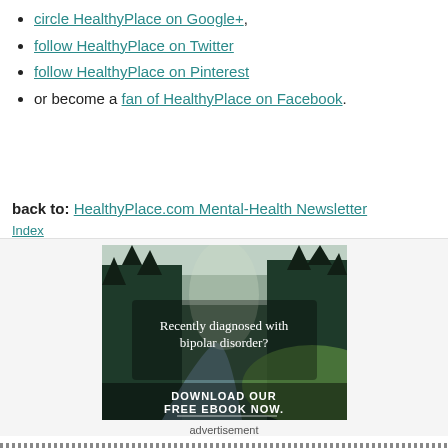circle HealthyPlace on Google+,
follow HealthyPlace on Twitter
follow HealthyPlace on Pinterest
or become a fan of HealthyPlace on Facebook.
back to: HealthyPlace.com Mental-Health Newsletter Index
[Figure (photo): Forest and river landscape with text overlay: 'Recently diagnosed with bipolar disorder? DOWNLOAD OUR FREE EBOOK NOW.']
advertisement